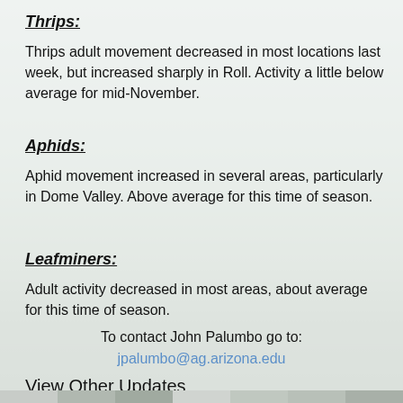Thrips:
Thrips adult movement decreased in most locations last week, but increased sharply in Roll. Activity a little below average for mid-November.
Aphids:
Aphid movement increased in several areas, particularly in Dome Valley. Above average for this time of season.
Leafminers:
Adult activity decreased in most areas, about average for this time of season.
To contact John Palumbo go to:
jpalumbo@ag.arizona.edu
View Other Updates